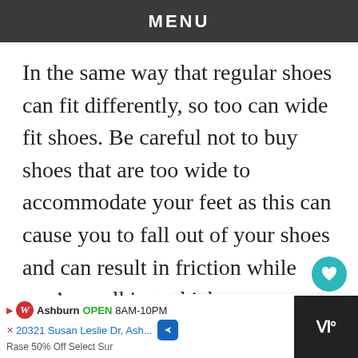MENU
In the same way that regular shoes can fit differently, so too can wide fit shoes. Be careful not to buy shoes that are too wide to accommodate your feet as this can cause you to fall out of your shoes and can result in friction while you’re walking which causes blisters.
[Figure (screenshot): WHAT'S NEXT arrow label with text '16 Different Types of Hig...']
[Figure (screenshot): Advertisement bar: Walgreens, Ashburn OPEN 8AM-10PM, 20321 Susan Leslie Dr, Ash...]